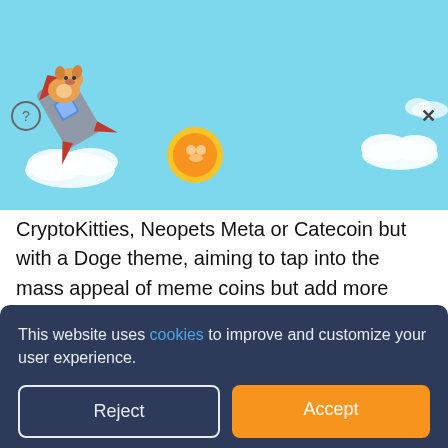[Figure (screenshot): Tamadoge promotional banner with light blue background, rocket with cartoon dog, coin logo, orange Learn More button, question mark icon, and X close button. Text: 'Tamadoge - Newest Meme Coin on Presale Now, 60% Sold Out']
CryptoKitties, Neopets Meta or Catecoin but with a Doge theme, aiming to tap into the mass appeal of meme coins but add more utility – its native token TAMA will be the rewards token that players will earn for doing battle with their Doge pets.
[Figure (screenshot): Teal banner with dark blue bold text: 'GET IN EARLY ON THE TAMADOGE BETA SALE' with pixel art decorations on left side]
This website uses cookies to improve and customize your user experience.